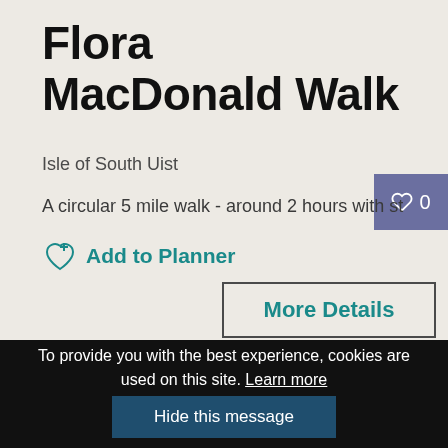Flora MacDonald Walk
Isle of South Uist
A circular 5 mile walk - around 2 hours with st
Add to Planner
More Details
To provide you with the best experience, cookies are used on this site. Learn more
Hide this message